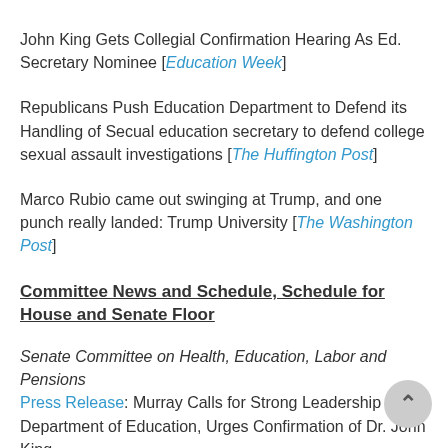John King Gets Collegial Confirmation Hearing As Ed. Secretary Nominee [Education Week]
Republicans Push Education Department to Defend its Handling of Secual education secretary to defend college sexual assault investigations [The Huffington Post]
Marco Rubio came out swinging at Trump, and one punch really landed: Trump University [The Washington Post]
Committee News and Schedule, Schedule for House and Senate Floor
Senate Committee on Health, Education, Labor and Pensions Press Release: Murray Calls for Strong Leadership at the Department of Education, Urges Confirmation of Dr. John King